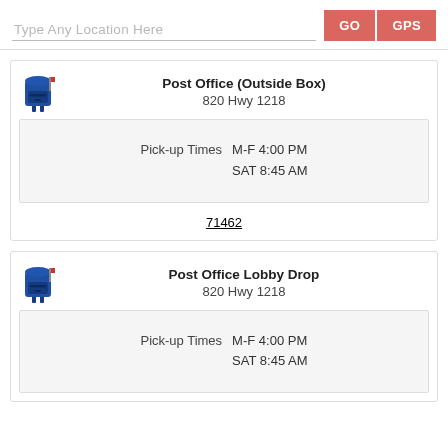Type Any Location Here
GO
GPS
Post Office (Outside Box)
820 Hwy 1218
Pick-up Times  M-F 4:00 PM  SAT 8:45 AM
71462
Post Office Lobby Drop
820 Hwy 1218
Pick-up Times  M-F 4:00 PM  SAT 8:45 AM